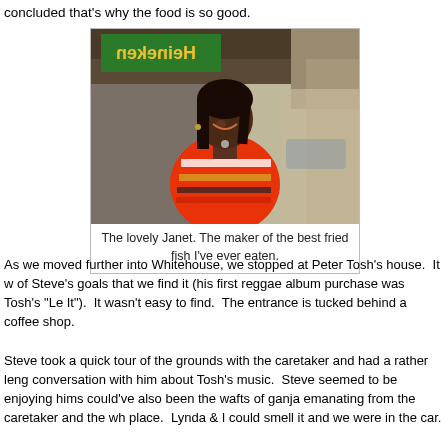concluded that's why the food is so good.
[Figure (photo): A smiling woman named Janet standing under a covered outdoor area with a Heineken banner (reversed) visible in the background.]
The lovely Janet. The maker of the best fried fish I've ever eaten.
As we moved further into Whitehouse, we stopped at Peter Tosh's house.  It w of Steve's goals that we find it (his first reggae album purchase was Tosh's "Le It").  It wasn't easy to find.  The entrance is tucked behind a coffee shop.
Steve took a quick tour of the grounds with the caretaker and had a rather leng conversation with him about Tosh's music.  Steve seemed to be enjoying hims could've also been the wafts of ganja emanating from the caretaker and the wh place.  Lynda & I could smell it and we were in the car.